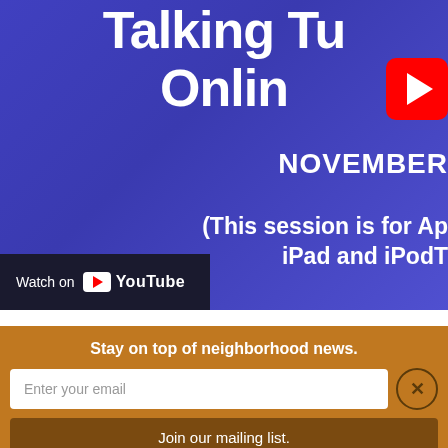[Figure (screenshot): YouTube video thumbnail with purple/blue gradient background showing partial text 'Talking Tu...' and 'Onlin...' with YouTube play button icon overlay, NOVEMBER label, and text '(This session is for Ap... iPad and iPodT...' with Watch on YouTube bar at bottom left]
Stay on top of neighborhood news.
Enter your email
Join our mailing list.